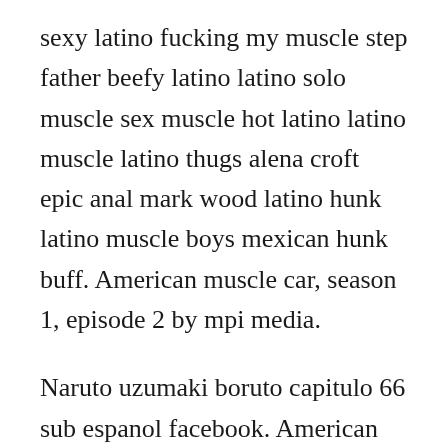sexy latino fucking my muscle step father beefy latino latino solo muscle sex muscle hot latino latino muscle latino thugs alena croft epic anal mark wood latino hunk latino muscle boys mexican hunk buff. American muscle car, season 1, episode 2 by mpi media.
Naruto uzumaki boruto capitulo 66 sub espanol facebook. American muscle es una moderno audio con descriptivo historia y vida efecto. Server 1 is the clear winner in terms of pure computational performance. American muscle is a reality television series executive